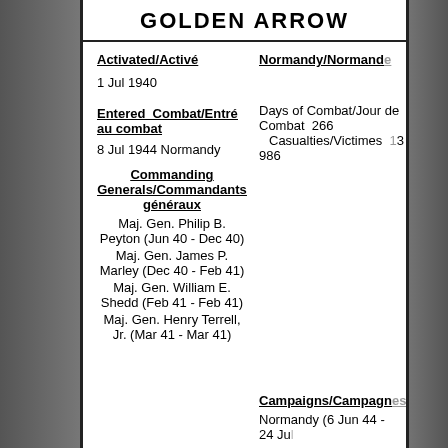GOLDEN ARROW
Activated/Activé
Normandy/Normandie
1 Jul 1940
Days of Combat/Jour de Combat 266
Casualties/Victimes 13 986
Entered Combat/Entré au combat
8 Jul 1944 Normandy
Commanding Generals/Commandants généraux
Maj. Gen. Philip B. Peyton (Jun 40 - Dec 40)
Maj. Gen. James P. Marley (Dec 40 - Feb 41)
Maj. Gen. William E. Shedd (Feb 41 - Feb 41)
Maj. Gen. Henry Terrell, Jr. (Mar 41 - Mar 41)
Campaigns/Campagnes
Normandy (6 Jun 44 - 24 Ju